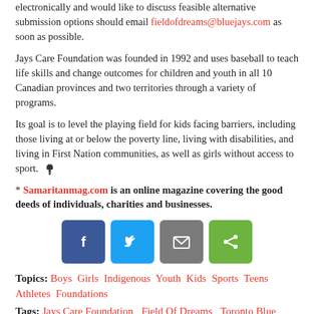electronically and would like to discuss feasible alternative submission options should email fieldofdreams@bluejays.com as soon as possible.
Jays Care Foundation was founded in 1992 and uses baseball to teach life skills and change outcomes for children and youth in all 10 Canadian provinces and two territories through a variety of programs.
Its goal is to level the playing field for kids facing barriers, including those living at or below the poverty line, living with disabilities, and living in First Nation communities, as well as girls without access to sport.
* Samaritanmag.com is an online magazine covering the good deeds of individuals, charities and businesses.
[Figure (infographic): Row of four social share buttons: Facebook (blue), Twitter (light blue), Email (grey), Share (green)]
Topics: Boys Girls Indigenous Youth Kids Sports Teens Athletes Foundations
Tags: Jays Care Foundation  Field Of Dreams  Toronto Blue Jays  MLB  baseball
Related Stories
Country Singer Gord Bamford's Latest Golf Classic Raises Almost Half a Mil For Children's Charities
NFL To Give NFL Award Money To Colin Kaepernick Initiative
Snowboarder Mark McMorris Directs Proceeds of His Kiehl's